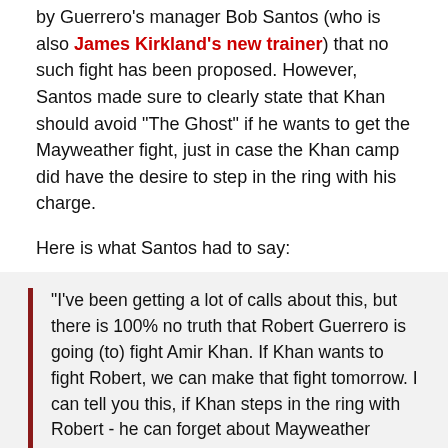by Guerrero's manager Bob Santos (who is also James Kirkland's new trainer) that no such fight has been proposed. However, Santos made sure to clearly state that Khan should avoid "The Ghost" if he wants to get the Mayweather fight, just in case the Khan camp did have the desire to step in the ring with his charge.
Here is what Santos had to say:
"I've been getting a lot of calls about this, but there is 100% no truth that Robert Guerrero is going (to) fight Amir Khan. If Khan wants to fight Robert, we can make that fight tomorrow. I can tell you this, if Khan steps in the ring with Robert - he can forget about Mayweather because I am 100% confident that Robert will stop him."